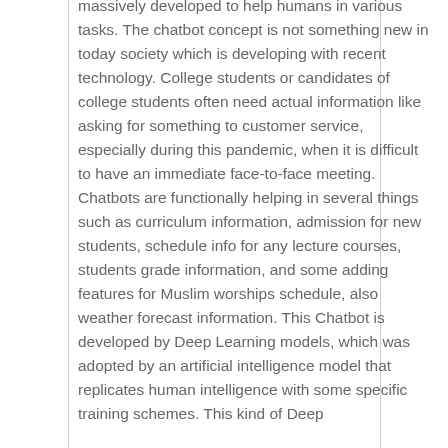massively developed to help humans in various tasks. The chatbot concept is not something new in today society which is developing with recent technology. College students or candidates of college students often need actual information like asking for something to customer service, especially during this pandemic, when it is difficult to have an immediate face-to-face meeting. Chatbots are functionally helping in several things such as curriculum information, admission for new students, schedule info for any lecture courses, students grade information, and some adding features for Muslim worships schedule, also weather forecast information. This Chatbot is developed by Deep Learning models, which was adopted by an artificial intelligence model that replicates human intelligence with some specific training schemes. This kind of Deep